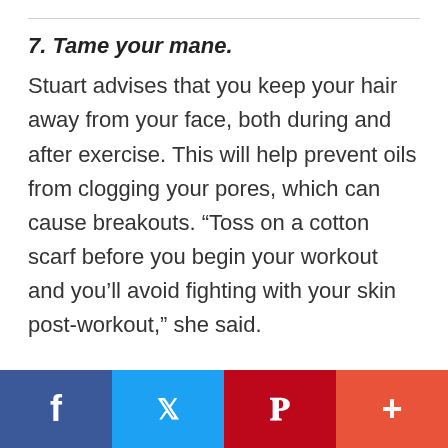7. Tame your mane.
Stuart advises that you keep your hair away from your face, both during and after exercise. This will help prevent oils from clogging your pores, which can cause breakouts. “Toss on a cotton scarf before you begin your workout and you’ll avoid fighting with your skin post-workout,” she said.